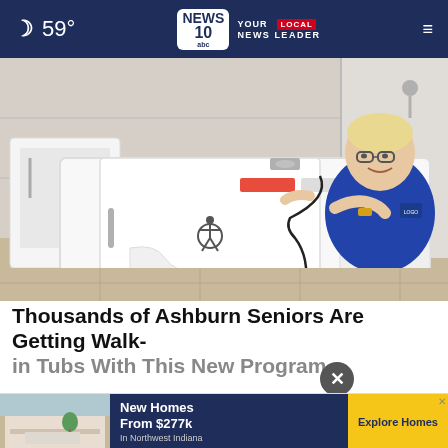59° — NEWS 10 abc YOUR LOCAL NEWS LEADER
[Figure (photo): Man sitting inside a white walk-in tub in a bathroom showroom, with another walk-in tub visible in the background. The tub has a wheelchair accessibility symbol on the door.]
Thousands of Ashburn Seniors Are Getting Walk-in Tubs With This New Program
Smart
[Figure (photo): Advertisement banner: New Homes From $277k In Northwest Indiana — Explore Homes, with a kitchen image]